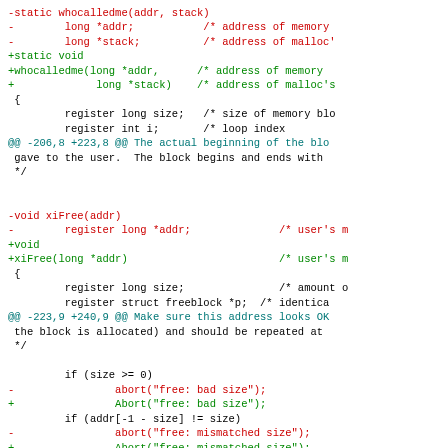[Figure (other): A unified diff code block showing changes to C source code, with red lines for removed code, green lines for added code, blue lines for diff hunk headers, and black lines for context.]